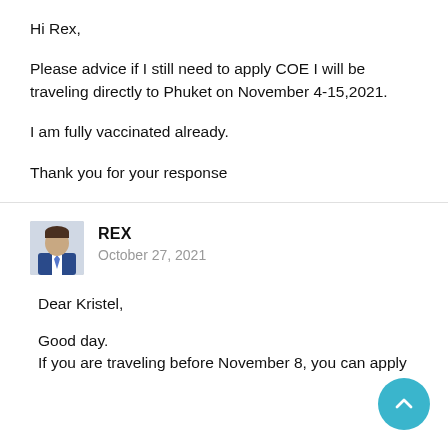Hi Rex,
Please advice if I still need to apply COE I will be traveling directly to Phuket on November 4-15,2021.
I am fully vaccinated already.
Thank you for your response
REX
October 27, 2021
Dear Kristel,
Good day.
If you are traveling before November 8, you can apply